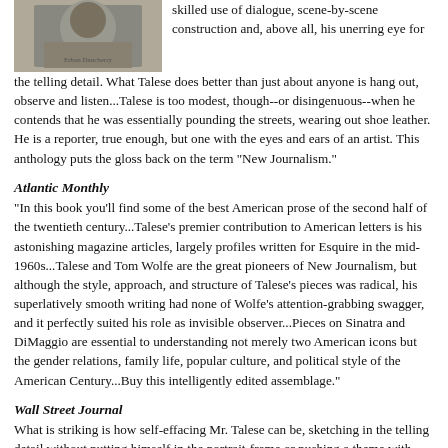[Figure (photo): Black and white photograph of a person, partially visible at top of page]
skilled use of dialogue, scene-by-scene construction and, above all, his unerring eye for the telling detail. What Talese does better than just about anyone is hang out, observe and listen...Talese is too modest, though--or disingenuous--when he contends that he was essentially pounding the streets, wearing out shoe leather. He is a reporter, true enough, but one with the eyes and ears of an artist. This anthology puts the gloss back on the term "New Journalism."
Atlantic Monthly
"In this book you'll find some of the best American prose of the second half of the twentieth century...Talese's premier contribution to American letters is his astonishing magazine articles, largely profiles written for Esquire in the mid-1960s...Talese and Tom Wolfe are the great pioneers of New Journalism, but although the style, approach, and structure of Talese's pieces was radical, his superlatively smooth writing had none of Wolfe's attention-grabbing swagger, and it perfectly suited his role as invisible observer...Pieces on Sinatra and DiMaggio are essential to understanding not merely two American icons but the gender relations, family life, popular culture, and political style of the American Century...Buy this intelligently edited assemblage."
Wall Street Journal
What is striking is how self-effacing Mr. Talese can be, sketching in the telling detail without putting himself in the portrait-frame or pushing a theme with auteur-like emphasis."
Atlanta Journal-Constitution
"Compelling writing that stands the test of time...Many of